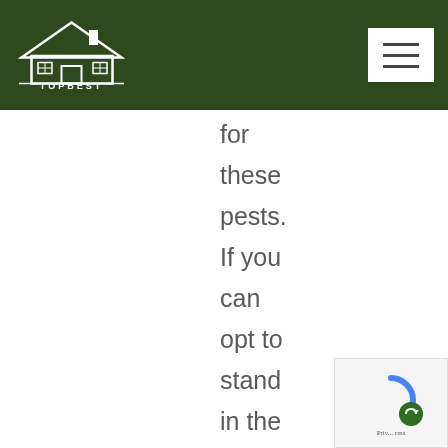TOPBEST
for these pests. If you can opt to stand in the bus or seat on